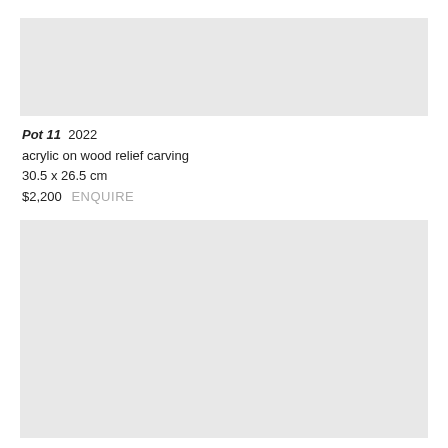[Figure (photo): Artwork image placeholder – top image of Pot 11 artwork (light gray box)]
Pot 11 2022
acrylic on wood relief carving
30.5 x 26.5 cm
$2,200  ENQUIRE
[Figure (photo): Artwork image placeholder – bottom image of another artwork (light gray box)]